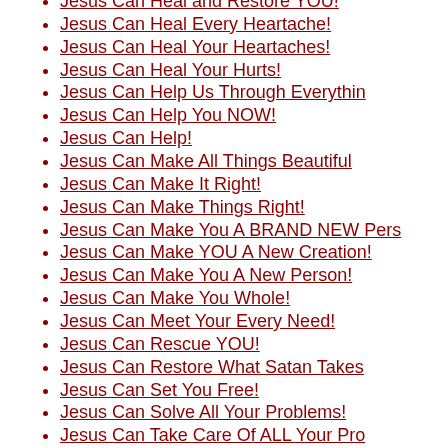Jesus Can Heal and Restore YOU!
Jesus Can Heal Every Heartache!
Jesus Can Heal Your Heartaches!
Jesus Can Heal Your Hurts!
Jesus Can Help Us Through Everythin
Jesus Can Help You NOW!
Jesus Can Help!
Jesus Can Make All Things Beautiful
Jesus Can Make It Right!
Jesus Can Make Things Right!
Jesus Can Make You A BRAND NEW Pers
Jesus Can Make YOU A New Creation!
Jesus Can Make You A New Person!
Jesus Can Make You Whole!
Jesus Can Meet Your Every Need!
Jesus Can Rescue YOU!
Jesus Can Restore What Satan Takes
Jesus Can Set You Free!
Jesus Can Solve All Your Problems!
Jesus Can Take Care Of ALL Your Pro
Jesus Can't Be taken Away!
Jesus Cares About YOU!
Jesus Cares about You!
Jesus Cares about YOU!
Jesus Cares For Me!
Jesus Cares For YOU!
Jesus Cares!
Jesus Cares!
Jesus Changed My Life!
Jesus Changed My Life!
Jesus Changed My Life!